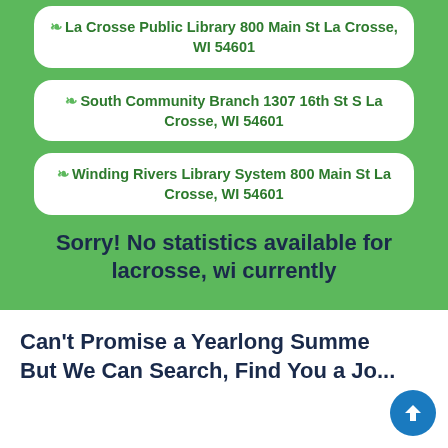La Crosse Public Library 800 Main St La Crosse, WI 54601
South Community Branch 1307 16th St S La Crosse, WI 54601
Winding Rivers Library System 800 Main St La Crosse, WI 54601
Sorry! No statistics available for lacrosse, wi currently
Can't Promise a Yearlong Summer But We Can Search, Find You a Job...